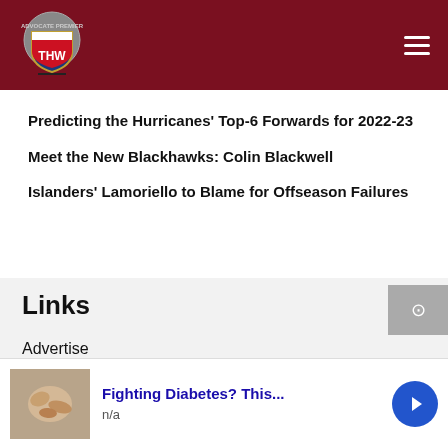[Figure (logo): THW hockey website logo — shield with THW text on dark red header background]
Predicting the Hurricanes' Top-6 Forwards for 2022-23
Meet the New Blackhawks: Colin Blackwell
Islanders' Lamoriello to Blame for Offseason Failures
Links
Advertise
Write for THW
[Figure (photo): Advertisement banner: Fighting Diabetes? This... with food image and blue arrow button]